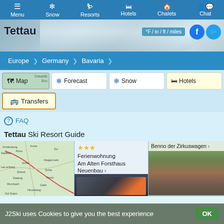Menu | Snow | Resorts | Hotels | Chalets | Chat
[Figure (screenshot): Hero banner with mountain/snow background, Tettau title, °F / in / ft / miles unit toggle, Facebook and Twitter social icons]
Europe > Germany > Bavaria
Map  Forecast  Snow  Hotels
Transfers
FAQ
Tettau Ski Resort Guide
[Figure (map): Map thumbnail showing Tettau area in Germany with surrounding towns]
★★★ Ferienwohnung Am Alten Forsthaus Neuenbau ›
Benno der Zirkuswagen ›
J2Ski uses Cookies to give you the best experience  OK